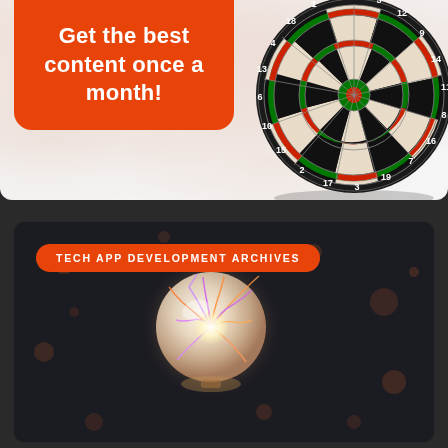[Figure (infographic): Top section with white/light grey background containing an orange rounded rectangle with text 'Get the best content once a month!' and a dartboard image on the right side.]
Get the best content once a month!
[Figure (photo): Dark background section with an orange pill-shaped button labeled 'TECH APP DEVELOPMENT ARCHIVES' and a glowing plasma ball in the center of the image.]
TECH APP DEVELOPMENT ARCHIVES